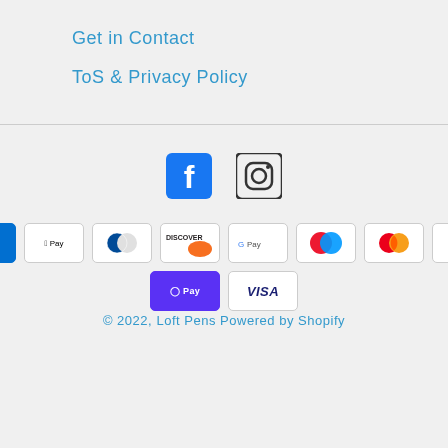Get in Contact
ToS & Privacy Policy
[Figure (logo): Facebook and Instagram social media icons]
[Figure (logo): Payment method badges: American Express, Apple Pay, Diners Club, Discover, Google Pay, Maestro, Mastercard, PayPal, Shop Pay, Visa]
© 2022, Loft Pens Powered by Shopify